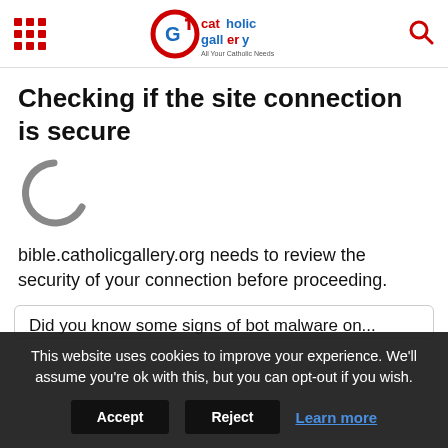Catholic Gallery - All Your Catholic Needs
Checking if the site connection is secure
[Figure (other): Loading spinner shown as a large letter C in gray]
bible.catholicgallery.org needs to review the security of your connection before proceeding.
Did you know some signs of bot malware on...
This website uses cookies to improve your experience. We'll assume you're ok with this, but you can opt-out if you wish.